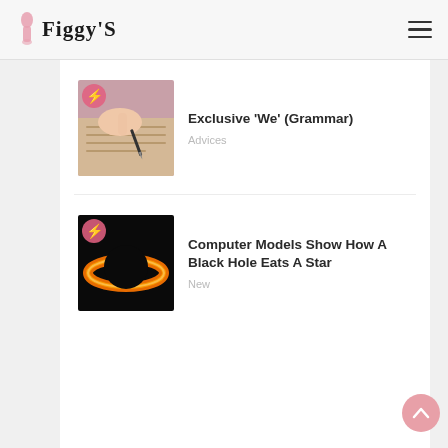Figgy'S
[Figure (photo): Person writing with pen on notebook paper, pink background with lightning bolt badge]
Exclusive 'We' (Grammar)
Advices
[Figure (photo): Black hole with glowing orange ring on dark background, with lightning bolt badge]
Computer Models Show How A Black Hole Eats A Star
New